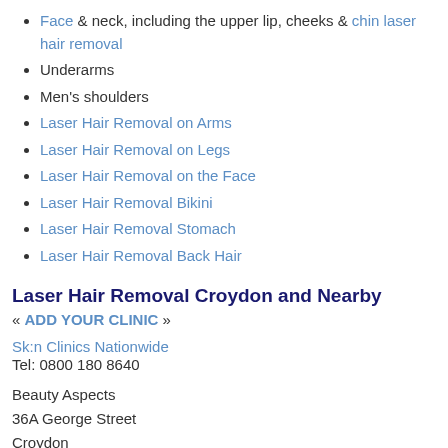Face & neck, including the upper lip, cheeks & chin laser hair removal
Underarms
Men's shoulders
Laser Hair Removal on Arms
Laser Hair Removal on Legs
Laser Hair Removal on the Face
Laser Hair Removal Bikini
Laser Hair Removal Stomach
Laser Hair Removal Back Hair
Laser Hair Removal Croydon and Nearby
« ADD YOUR CLINIC »
Sk:n Clinics Nationwide
Tel: 0800 180 8640
Beauty Aspects
36A George Street
Croydon
CR0 1PB